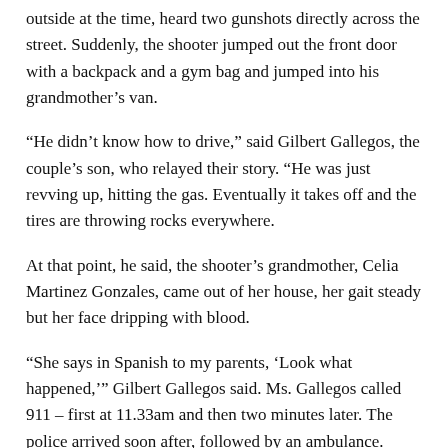outside at the time, heard two gunshots directly across the street. Suddenly, the shooter jumped out the front door with a backpack and a gym bag and jumped into his grandmother’s van.
“He didn’t know how to drive,” said Gilbert Gallegos, the couple’s son, who relayed their story. “He was just revving up, hitting the gas. Eventually it takes off and the tires are throwing rocks everywhere.
At that point, he said, the shooter’s grandmother, Celia Martinez Gonzales, came out of her house, her gait steady but her face dripping with blood.
“She says in Spanish to my parents, ‘Look what happened,’” Gilbert Gallegos said. Ms. Gallegos called 911 – first at 11.33am and then two minutes later. The police arrived soon after, followed by an ambulance.
Even before they arrived, he said, his parents could hear gunfire